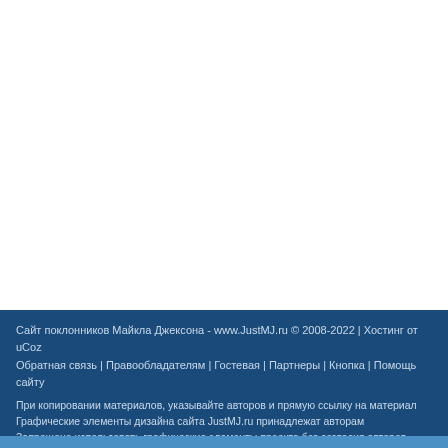Сайт поклонников Майкла Джексона - www.JustMJ.ru © 2008-2022 | Хостинг от uCoz
Обратная связь | Правообладателям | Гостевая | Партнеры | Кнопка | Помощь сайту
При копировании материалов, указывайте авторов и прямую ссылку на материал
Графические элементы дизайна сайта JustMJ.ru принадлежат авторам
Запрещено использовать графические элементы проекта без согласия авторов